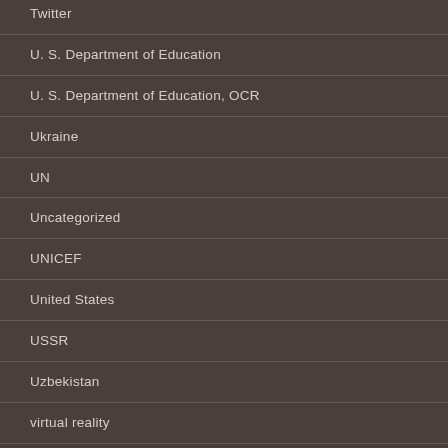Twitter
U. S. Department of Education
U. S. Department of Education, OCR
Ukraine
UN
Uncategorized
UNICEF
United States
USSR
Uzbekistan
virtual reality
virtual reality goggles
Voluntary Resolution Agreements